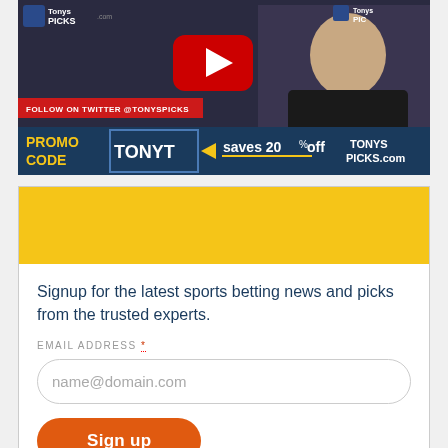[Figure (screenshot): YouTube video thumbnail for TonysPicks.com showing a man in a black shirt with YouTube play button overlay, TonysPicks logo watermarks, a red Twitter follow bar, and a blue promotional bar with promo code TONYT saving 20% off at TONYS PICKS.com]
Never Miss A Pick
Signup for the latest sports betting news and picks from the trusted experts.
EMAIL ADDRESS *
name@domain.com
Sign up